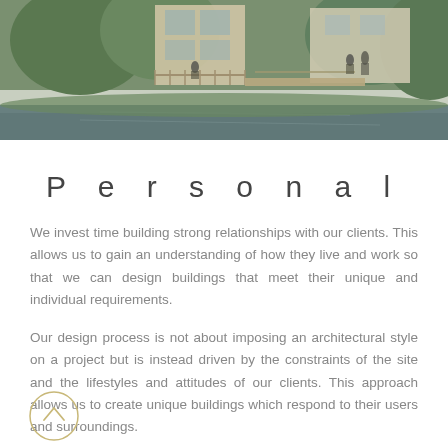[Figure (photo): Aerial or elevated view of a modern building with wooden deck/walkway over a river or water feature, with trees and greenery surrounding it. People visible on the walkway. Another structure visible in the background.]
Personal
We invest time building strong relationships with our clients. This allows us to gain an understanding of how they live and work so that we can design buildings that meet their unique and individual requirements.
Our design process is not about imposing an architectural style on a project but is instead driven by the constraints of the site and the lifestyles and attitudes of our clients. This approach allows us to create unique buildings which respond to their users and surroundings.
We pride ourselves on our flexibility,